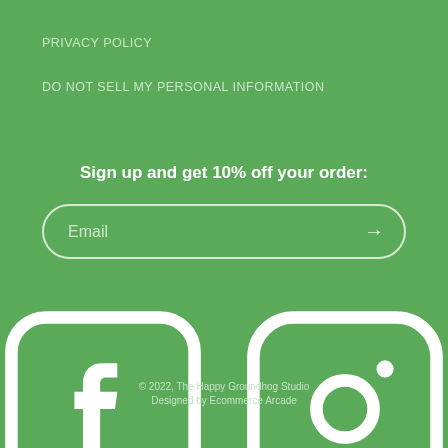PRIVACY POLICY
DO NOT SELL MY PERSONAL INFORMATION
Sign up and get 10% off your order:
[Figure (infographic): Email signup input field with rounded border and arrow button on green background]
[Figure (infographic): Facebook and Instagram social media icons in white on green background]
© 2022, The Happy Groundhog Studio
Designed by Ecommerce Arcade